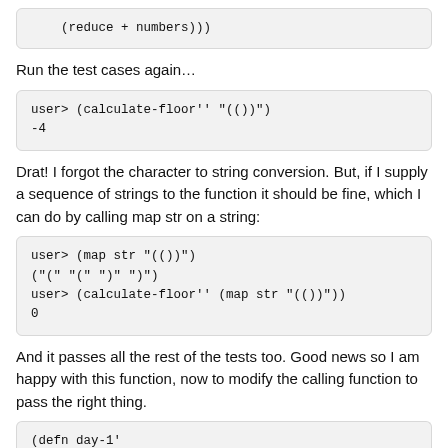(reduce + numbers)))
Run the test cases again...
user> (calculate-floor'' "(())")
-4
Drat! I forgot the character to string conversion. But, if I supply a sequence of strings to the function it should be fine, which I can do by calling map str on a string:
user> (map str "(())")
("(" "(" ")" ")")
user> (calculate-floor'' (map str "(())"))
0
And it passes all the rest of the tests too. Good news so I am happy with this function, now to modify the calling function to pass the right thing.
(defn day-1'
  []
  (let [braces (read-input-string "data/day-1")